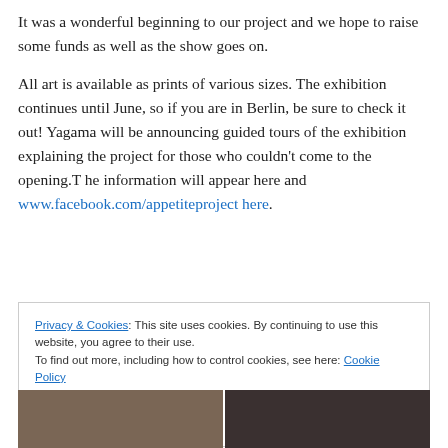It was a wonderful beginning to our project and we hope to raise some funds as well as the show goes on.
All art is available as prints of various sizes. The exhibition continues until June, so if you are in Berlin, be sure to check it out! Yagama will be announcing guided tours of the exhibition explaining the project for those who couldn't come to the opening.T he information will appear here and www.facebook.com/appetiteproject here.
Privacy & Cookies: This site uses cookies. By continuing to use this website, you agree to their use. To find out more, including how to control cookies, see here: Cookie Policy
[Figure (photo): Two side-by-side photos at the bottom of the page, partially visible]